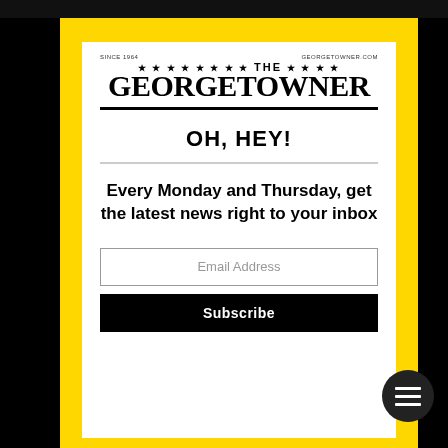[Figure (logo): The Georgetowner newspaper logo with stars and text]
OH, HEY!
Every Monday and Thursday, get the latest news right to your inbox
Email Address
Subscribe